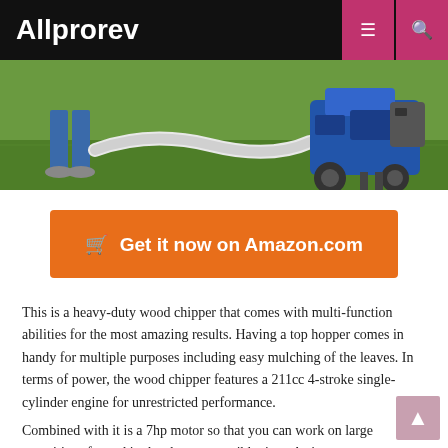Allprorev
[Figure (photo): Person standing next to a blue wood chipper machine on grass, with a white hose/tube connecting them]
Get it now on Amazon.com
This is a heavy-duty wood chipper that comes with multi-function abilities for the most amazing results. Having a top hopper comes in handy for multiple purposes including easy mulching of the leaves. In terms of power, the wood chipper features a 211cc 4-stroke single-cylinder engine for unrestricted performance.
Combined with it is a 7hp motor so that you can work on large quantities of wood in the shortest possible time. As it